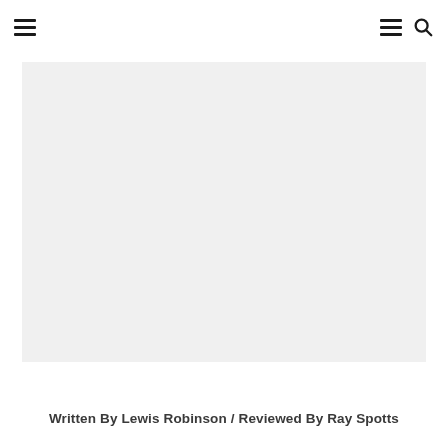[hamburger menu icon] [hamburger menu icon] [search icon]
[Figure (photo): Large light gray placeholder image area]
Written By Lewis Robinson / Reviewed By Ray Spotts